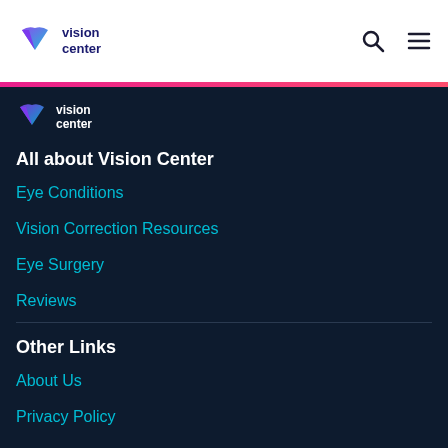vision center
[Figure (logo): Vision Center logo with V icon and text in dark navy navigation panel]
All about Vision Center
Eye Conditions
Vision Correction Resources
Eye Surgery
Reviews
Other Links
About Us
Privacy Policy